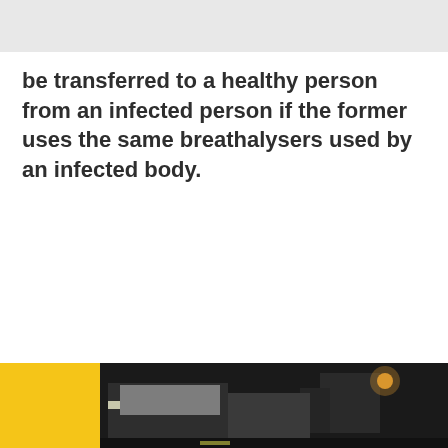be transferred to a healthy person from an infected person if the former uses the same breathalysers used by an infected body.
[Figure (photo): Nighttime street scene showing a vehicle or truck with lights, partially visible at the bottom of the page. A yellow strip is visible on the left side.]